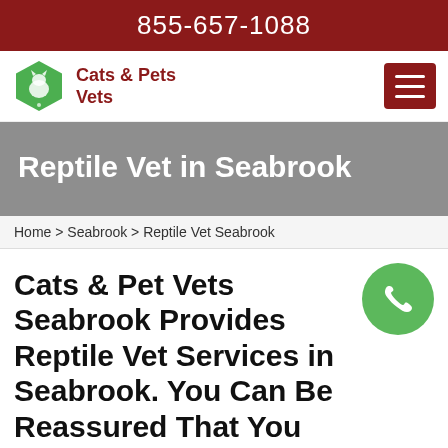855-657-1088
[Figure (logo): Cats & Pets Vets logo with green hexagon containing a cat silhouette and paw print, with the text Cats & Pets Vets in dark red]
Reptile Vet in Seabrook
Home > Seabrook > Reptile Vet Seabrook
Cats & Pet Vets Seabrook Provides Reptile Vet Services in Seabrook. You Can Be Reassured That You Are Getting Exceptional Reptile Vet Care. Our High...